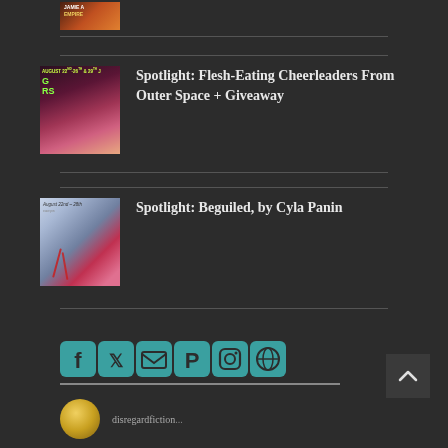[Figure (photo): Small thumbnail image with text overlay showing 'JAMIE A' and 'EMPIRE' on a dark orange/brown background]
[Figure (photo): Comic book style image with dates 'AUGUST 22nd-26th & 29th' showing a red-haired woman screaming, with green/yellow text]
Spotlight: Flesh-Eating Cheerleaders From Outer Space + Giveaway
[Figure (photo): Image with text 'August 22nd - 28th' showing a figure with red drips on a white/blue background]
Spotlight: Beguiled, by Cyla Panin
[Figure (infographic): Social media icons row: Facebook, Twitter, Email, Pinterest, Instagram, Globe/Web]
[Figure (photo): Circular avatar/profile photo with yellow-green coloring, partially visible at bottom]
disregardfiction...